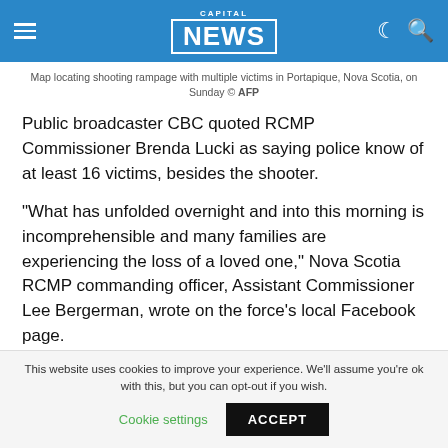CAPITAL NEWS
Map locating shooting rampage with multiple victims in Portapique, Nova Scotia, on Sunday © AFP
Public broadcaster CBC quoted RCMP Commissioner Brenda Lucki as saying police know of at least 16 victims, besides the shooter.
“What has unfolded overnight and into this morning is incomprehensible and many families are experiencing the loss of a loved one,” Nova Scotia RCMP commanding officer, Assistant Commissioner Lee Bergerman, wrote on the force’s local Facebook page.
This website uses cookies to improve your experience. We’ll assume you’re ok with this, but you can opt-out if you wish.